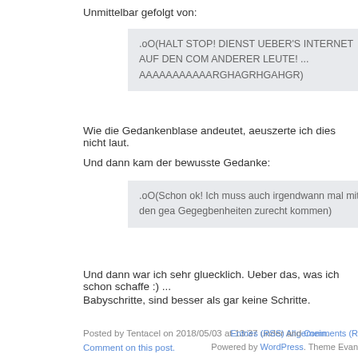Unmittelbar gefolgt von:
.oO(HALT STOP! DIENST UEBER'S INTERNET AUF DEN COM ANDERER LEUTE! ... AAAAAAAAAAARGHAGRHGAHGR)
Wie die Gedankenblase andeutet, aeuszerte ich dies nicht laut.
Und dann kam der bewusste Gedanke:
.oO(Schon ok! Ich muss auch irgendwann mal mit den gea Gegegbenheiten zurecht kommen)
Und dann war ich sehr gluecklich. Ueber das, was ich schon schaffe :) ...
Babyschritte, sind besser als gar keine Schritte.
Posted by Tentacel on 2018/05/03 at 13:37 under Allgemein.
Comment on this post.
« Previous Entries
Entries (RSS) and Comments (R
Powered by WordPress. Theme Evan